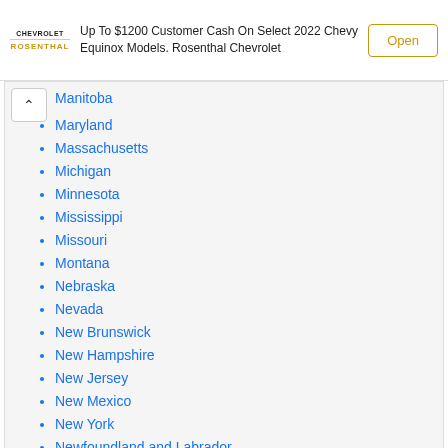[Figure (screenshot): Advertisement banner for Rosenthal Chevrolet showing logo, text about Up To $1200 Customer Cash On Select 2022 Chevy Equinox Models, and an Open button]
Manitoba
Maryland
Massachusetts
Michigan
Minnesota
Mississippi
Missouri
Montana
Nebraska
Nevada
New Brunswick
New Hampshire
New Jersey
New Mexico
New York
Newfoundland and Labrador